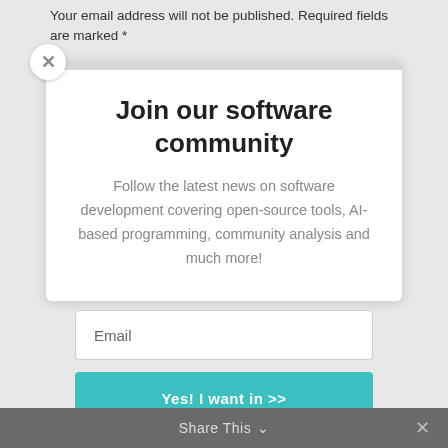Your email address will not be published. Required fields are marked *
[Figure (screenshot): Modal popup with close button (x), title 'Join our software community', body text, email input field, and a teal submit button.]
Join our software community
Follow the latest news on software development covering open-source tools, AI-based programming, community analysis and much more!
Email
Yes! I want in >>
Share This ∨